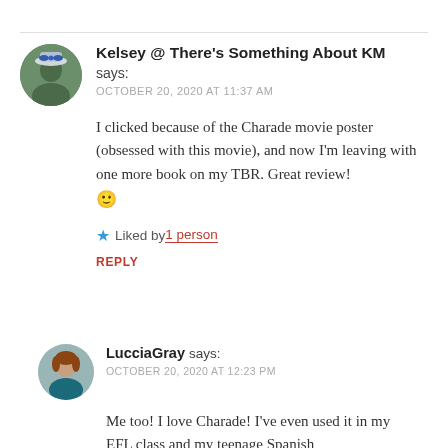Kelsey @ There's Something About KM says: OCTOBER 20, 2020 AT 11:37 AM
I clicked because of the Charade movie poster (obsessed with this movie), and now I'm leaving with one more book on my TBR. Great review! 🙂
Liked by 1 person
REPLY
LucciaGray says: OCTOBER 20, 2020 AT 12:23 PM
Me too! I love Charade! I've even used it in my EFL class and my teenage Spanish